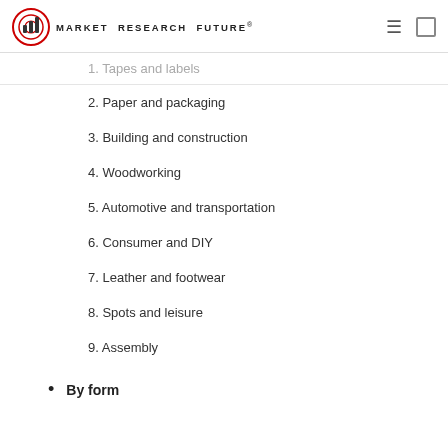MARKET RESEARCH FUTURE®
1. Tapes and labels
2. Paper and packaging
3. Building and construction
4. Woodworking
5. Automotive and transportation
6. Consumer and DIY
7. Leather and footwear
8. Spots and leisure
9. Assembly
By form